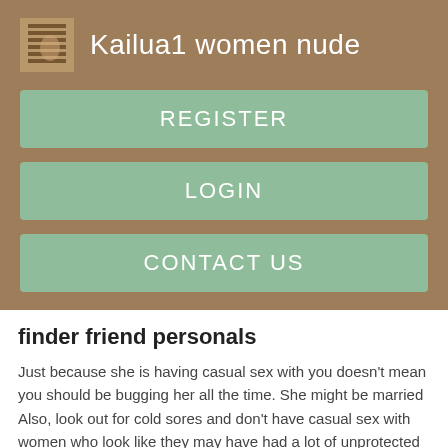Kailua1 women nude
REGISTER
LOGIN
CONTACT US
finder friend personals
Just because she is having casual sex with you doesn't mean you should be bugging her all the time. She might be married Also, look out for cold sores and don't have casual sex with women who look like they may have had a lot of unprotected sex. DON'T: Don't stay too long. You're there for casual sex and not a relationship. Remember, she might have just fucked you, but her husband or boyfriend could be coming home any minute.